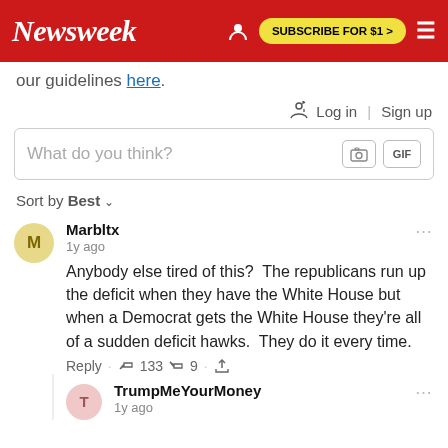Newsweek — SUBSCRIBE FOR $1 >
our guidelines here.
🔔  Log in | Sign up
What do you think? [camera icon] GIF
Sort by Best
Marbltx
1y ago
Anybody else tired of this?  The republicans run up the deficit when they have the White House but when a Democrat gets the White House they're all of a sudden deficit hawks.  They do it every time.
Reply · 👍 133 👎 9 · share
TrumpMeYourMoney
1y ago